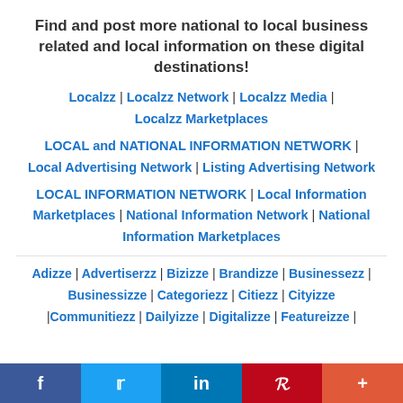Find and post more national to local business related and local information on these digital destinations!
Localzz | Localzz Network | Localzz Media | Localzz Marketplaces
LOCAL and NATIONAL INFORMATION NETWORK | Local Advertising Network | Listing Advertising Network
LOCAL INFORMATION NETWORK | Local Information Marketplaces | National Information Network | National Information Marketplaces
Adizze | Advertiserzz | Bizizze | Brandizze | Businessezz | Businessizze | Categoriezz | Citiezz | Cityizze |Communitiezz | Dailyizze | Digitalizze | Featureizze |
[Figure (infographic): Social media sharing bar with Facebook, Twitter, LinkedIn, Pinterest, and More buttons]